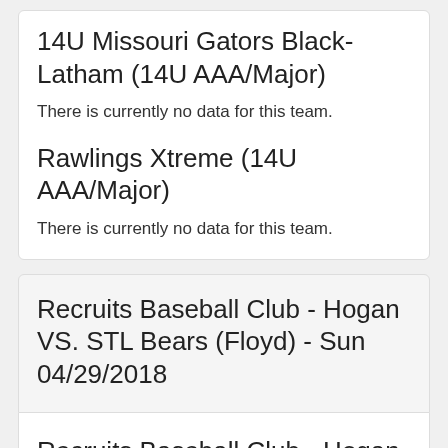14U Missouri Gators Black-Latham (14U AAA/Major)
There is currently no data for this team.
Rawlings Xtreme (14U AAA/Major)
There is currently no data for this team.
Recruits Baseball Club - Hogan VS. STL Bears (Floyd) - Sun 04/29/2018
Recruits Baseball Club - Hogan (14U AAA/Major)
There is currently no data for this team.